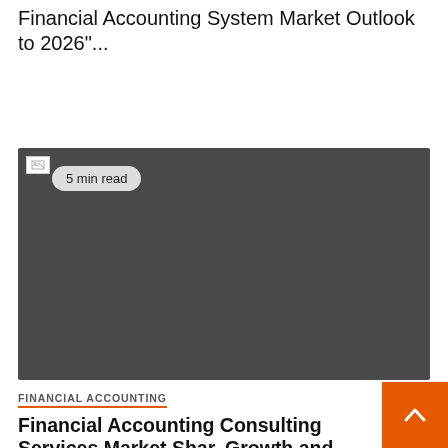Financial Accounting System Market Outlook to 2026"...
[Figure (photo): Dark gray image placeholder with a broken image icon in the top-left corner and a '5 min read' badge overlay]
FINANCIAL ACCOUNTING
Financial Accounting Consulting Services Market Share, Growth and Analysis, Major